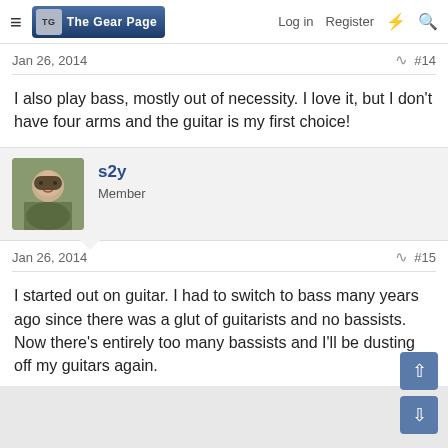The Gear Page — Log in  Register
Jan 26, 2014   #14
I also play bass, mostly out of necessity. I love it, but I don't have four arms and the guitar is my first choice!
s2y
Member
Jan 26, 2014   #15
I started out on guitar. I had to switch to bass many years ago since there was a glut of guitarists and no bassists. Now there's entirely too many bassists and I'll be dusting off my guitars again.